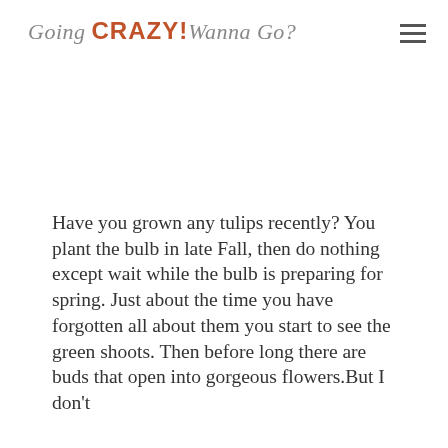Going CRAZY! Wanna Go?
Have you grown any tulips recently? You plant the bulb in late Fall, then do nothing except wait while the bulb is preparing for spring. Just about the time you have forgotten all about them you start to see the green shoots. Then before long there are buds that open into gorgeous flowers.But I don't